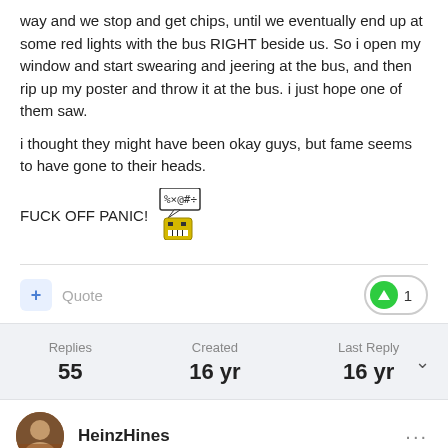way and we stop and get chips, until we eventually end up at some red lights with the bus RIGHT beside us. So i open my window and start swearing and jeering at the bus, and then rip up my poster and throw it at the bus. i just hope one of them saw.
i thought they might have been okay guys, but fame seems to have gone to their heads.
FUCK OFF PANIC! [angry emoji]
Quote  +1
Replies 55  Created 16 yr  Last Reply 16 yr
HeinzHines ...